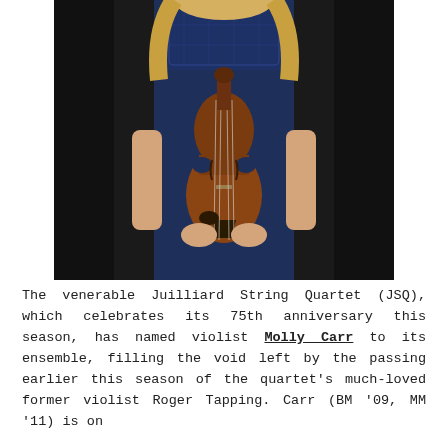[Figure (photo): A woman in a navy blue lace dress holding a violin in front of her body, photographed against a dark background. Only the torso and hands are visible.]
The venerable Juilliard String Quartet (JSQ), which celebrates its 75th anniversary this season, has named violist Molly Carr to its ensemble, filling the void left by the passing earlier this season of the quartet's much-loved former violist Roger Tapping. Carr (BM '09, MM '11) is on